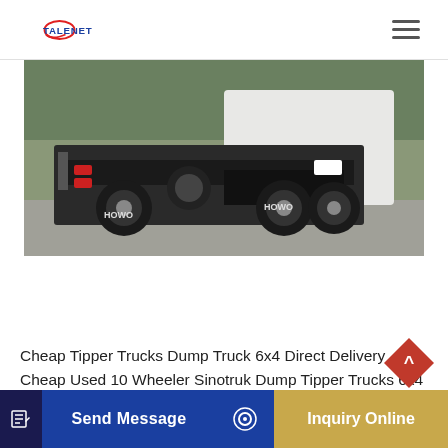TALENET
[Figure (photo): Rear view of a HOWO dump tipper truck (6x4) parked in a yard with trees in background]
Cheap Tipper Trucks Dump Truck 6x4 Direct Delivery Cheap Used 10 Wheeler Sinotruk Dump Tipper Trucks 6x4 For Sale In Dubai Namibia $5,500.00-$7,500.00 / (order)
Send Message
Inquiry Online